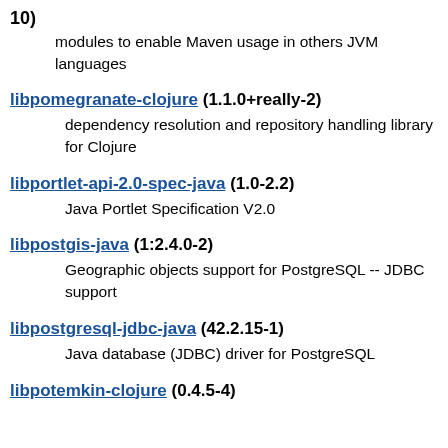10) modules to enable Maven usage in others JVM languages
libpomegranate-clojure (1.1.0+really-2) dependency resolution and repository handling library for Clojure
libportlet-api-2.0-spec-java (1.0-2.2) Java Portlet Specification V2.0
libpostgis-java (1:2.4.0-2) Geographic objects support for PostgreSQL -- JDBC support
libpostgresql-jdbc-java (42.2.15-1) Java database (JDBC) driver for PostgreSQL
libpotemkin-clojure (0.4.5-4)